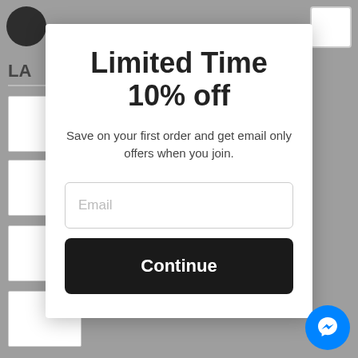Limited Time
10% off
Save on your first order and get email only offers when you join.
[Figure (screenshot): Email input field with placeholder text 'Email']
Continue
[Figure (logo): Facebook Messenger chat bubble button (blue circle with white lightning bolt icon)]